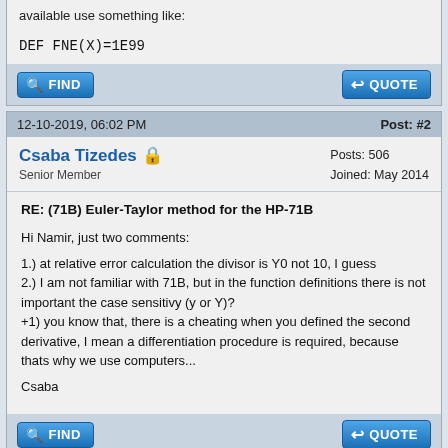available use something like:
DEF FNE(X)=1E99
12-10-2019, 06:02 PM
Post: #2
Csaba Tizedes
Senior Member
Posts: 506
Joined: May 2014
RE: (71B) Euler-Taylor method for the HP-71B
Hi Namir, just two comments:

1.) at relative error calculation the divisor is Y0 not 10, I guess
2.) I am not familiar with 71B, but in the function definitions there is not important the case sensitivy (y or Y)?
+1) you know that, there is a cheating when you defined the second derivative, I mean a differentiation procedure is required, because thats why we use computers...

Csaba
12-11-2019, 10:07 PM
Post: #3